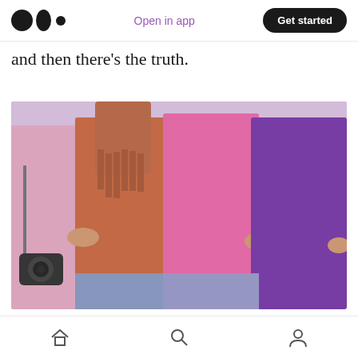Medium logo | Open in app | Get started
and then there’s the truth.
[Figure (photo): Four women standing in a row from behind, arms around each other, wearing colorful pink, orange, magenta, and purple coats. One woman has a camera slung over her shoulder.]
To be afforded the luxury in a bedroom community it
Home | Search | Profile